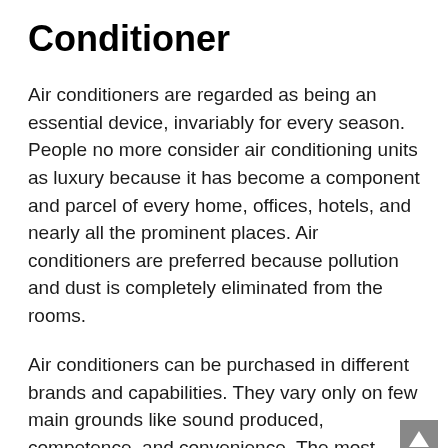Conditioner
Air conditioners are regarded as being an essential device, invariably for every season. People no more consider air conditioning units as luxury because it has become a component and parcel of every home, offices, hotels, and nearly all the prominent places. Air conditioners are preferred because pollution and dust is completely eliminated from the rooms.
Air conditioners can be purchased in different brands and capabilities. They vary only on few main grounds like sound produced, competence, and convenience. The most selective companies manufacturing air that is explicit are Kenmore, LG, Frigidaire, GE, and few more to name. Adding for this, national has facilitated individuals by asking the air conditioner manufacturers to boost the energy efficiency rate thereby making the purchase